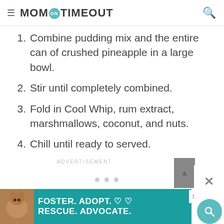MOM ON TIMEOUT
1. Combine pudding mix and the entire can of crushed pineapple in a large bowl.
2. Stir until completely combined.
3. Fold in Cool Whip, rum extract, marshmallows, coconut, and nuts.
4. Chill until ready to served.
ADVERTISEMENT
23.3k
[Figure (infographic): Foster. Adopt. Rescue. Advocate. advertisement banner with dog image at bottom of page.]